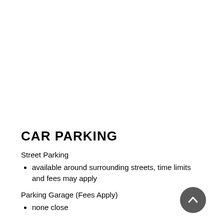CAR PARKING
Street Parking
available around surrounding streets, time limits and fees may apply
Parking Garage (Fees Apply)
none close